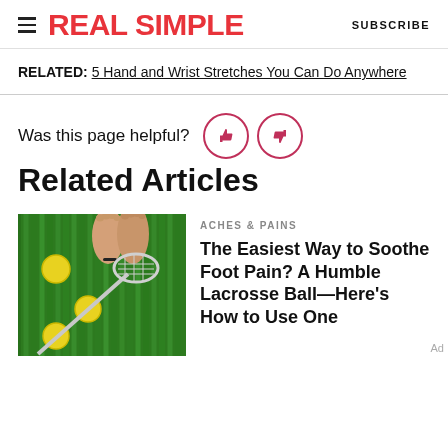REAL SIMPLE | SUBSCRIBE
RELATED: 5 Hand and Wrist Stretches You Can Do Anywhere
Was this page helpful?
Related Articles
[Figure (photo): Overhead view of bare feet on green grass with lacrosse ball and lacrosse stick]
ACHES & PAINS
The Easiest Way to Soothe Foot Pain? A Humble Lacrosse Ball—Here's How to Use One